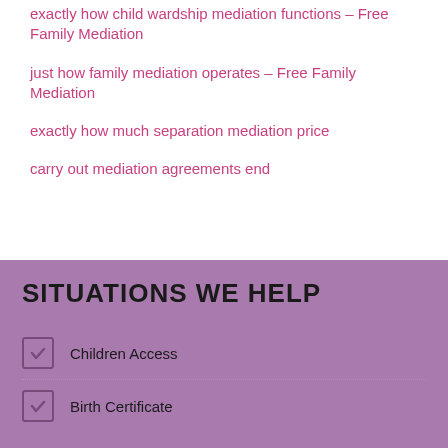exactly how child wardship mediation functions – Free Family Mediation
just how family mediation operates – Free Family Mediation
exactly how much separation mediation price
carry out mediation agreements end
SITUATIONS WE HELP
Children Access
Birth Certificate